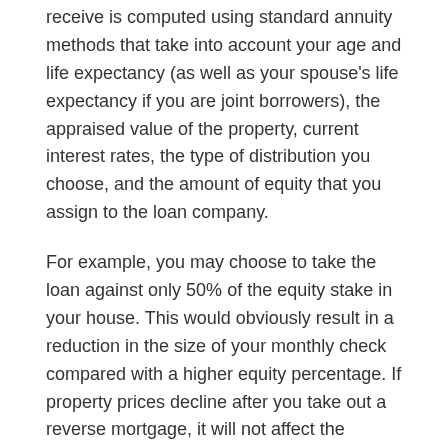receive is computed using standard annuity methods that take into account your age and life expectancy (as well as your spouse's life expectancy if you are joint borrowers), the appraised value of the property, current interest rates, the type of distribution you choose, and the amount of equity that you assign to the loan company.
For example, you may choose to take the loan against only 50% of the equity stake in your house. This would obviously result in a reduction in the size of your monthly check compared with a higher equity percentage. If property prices decline after you take out a reverse mortgage, it will not affect the remainder of your estate; in such circumstances, the lending company bears the loss. This is similar to a traditional annuity in which the insurance company bears the loss of continuing annuity payments in the event that you live past your life expectancy.
And even though you will never owe more than the